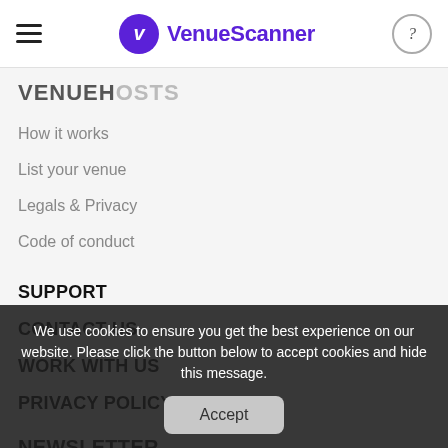VenueScanner
VENUEHOSTS
How it works
List your venue
Legals & Privacy
Code of conduct
SUPPORT
CONTACT US
WORK WITH US
PRIVACY POLICY
NEWSLETTER
Stay in the know... get weekly top tips on
We use cookies to ensure you get the best experience on our website. Please click the button below to accept cookies and hide this message.